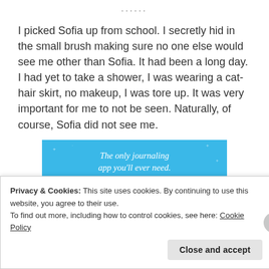......
I picked Sofia up from school. I secretly hid in the small brush making sure no one else would see me other than Sofia. It had been a long day. I had yet to take a shower, I was wearing a cat-hair skirt, no makeup, I was tore up. It was very important for me to not be seen. Naturally, of course, Sofia did not see me.
[Figure (illustration): Blue advertisement banner with text 'The only journaling app you'll ever need.' and a dark button below, with star/sparkle decorations on the blue background.]
Privacy & Cookies: This site uses cookies. By continuing to use this website, you agree to their use.
To find out more, including how to control cookies, see here: Cookie Policy
Close and accept